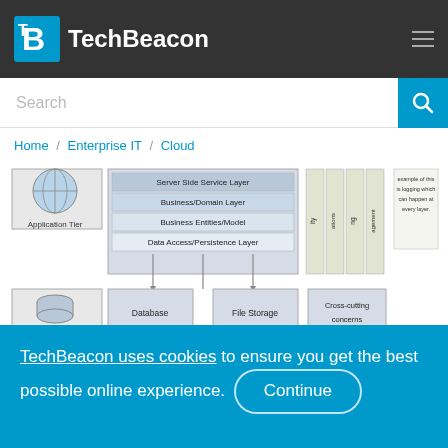TechBeacon
Search
Home / Enterprise IT / Cloud
[Figure (schematic): Diagram showing tiers and layers in a typical web application: Application Tier with Server Side Service Layer, Business/Domain Layer, Business Entities/Model, Data Access/Persistence Layer; Data Tier with Database and File Storage; Cross-cutting concerns column; and a note about logging happening at every layer.]
Figure 1: Tiers and layers in a typical web application (Sbarskl, Serverless Architectures on AWS, 2016)
We want to move fast, iterate quickly, and scale
TechBeacon uses cookies to ensure you get the best possible online experience. Continue